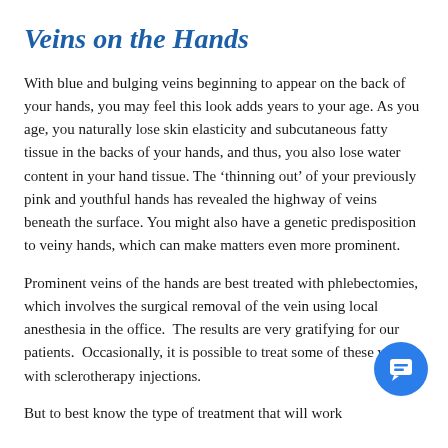Veins on the Hands
With blue and bulging veins beginning to appear on the back of your hands, you may feel this look adds years to your age. As you age, you naturally lose skin elasticity and subcutaneous fatty tissue in the backs of your hands, and thus, you also lose water content in your hand tissue. The ‘thinning out’ of your previously pink and youthful hands has revealed the highway of veins beneath the surface. You might also have a genetic predisposition to veiny hands, which can make matters even more prominent.
Prominent veins of the hands are best treated with phlebectomies, which involves the surgical removal of the vein using local anesthesia in the office.  The results are very gratifying for our patients.  Occasionally, it is possible to treat some of these veins with sclerotherapy injections.
But to best know the type of treatment that will work